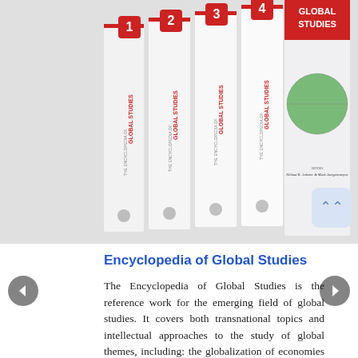[Figure (photo): Four-volume set of The Encyclopedia of Global Studies books displayed side by side showing spines numbered 1-4, with the front cover of volume 4 visible showing a globe-like image and the text 'GLOBAL STUDIES', edited by Helmut K. Anheier & Mark Juergensmeyer]
Encyclopedia of Global Studies
The Encyclopedia of Global Studies is the reference work for the emerging field of global studies. It covers both transnational topics and intellectual approaches to the study of global themes, including: the globalization of economies and technologies; the diaspora of cultures and dispersion of peoples; the transnational aspects of social